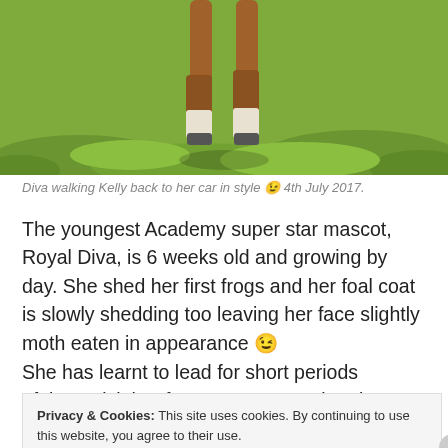[Figure (photo): Photo of a horse (foal) walking in grass, viewed from behind, with legs visible and green grass in background.]
Diva walking Kelly back to her car in style 😉 4th July 2017.
The youngest Academy super star mascot, Royal Diva, is 6 weeks old and growing by day. She shed her first frogs and her foal coat is slowly shedding too leaving her face slightly moth eaten in appearance 😉
She has learnt to lead for short periods of time, pick her feet up, got acquainted with an overnight stabling, learnt to eat g... W...
Privacy & Cookies: This site uses cookies. By continuing to use this website, you agree to their use.
To find out more, including how to control cookies, see here: Cookie Policy
Close and accept